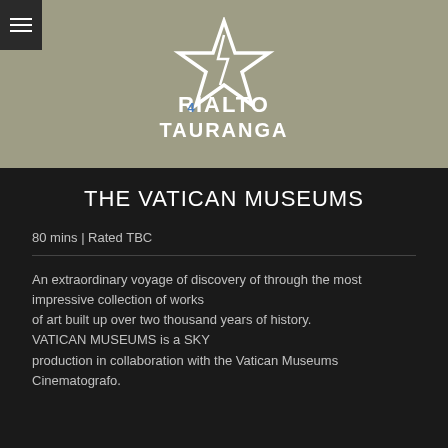[Figure (logo): Rialto Tauranga logo — a star outline above the text RIALTO with a '4' numeral integrated, and TAURANGA below, all in white on olive/khaki background]
THE VATICAN MUSEUMS
80 mins | Rated TBC
An extraordinary voyage of discovery of through the most impressive collection of works of art built up over two thousand years of history. VATICAN MUSEUMS is a SKY production in collaboration with the Vatican Museums Cinematografo.